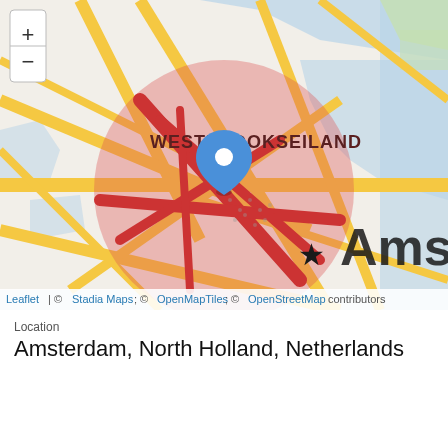[Figure (map): Interactive map centered on Amsterdam, Netherlands (Westerdokseiland area), with a red circular radius indicator and a blue location pin marker. Yellow roads on beige/cream background with blue water features. Map shows 'WESTERDOKSEILAND' label and 'Amsterdam' city label with a star. Zoom +/- controls in top-left. Map attribution bar at the bottom.]
Location
Amsterdam, North Holland, Netherlands